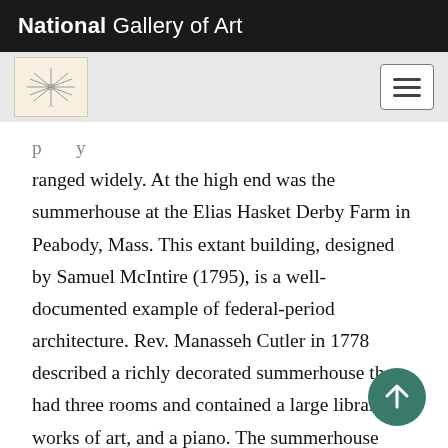National Gallery of Art
ranged widely. At the high end was the summerhouse at the Elias Hasket Derby Farm in Peabody, Mass. This extant building, designed by Samuel McIntire (1795), is a well-documented example of federal-period architecture. Rev. Manasseh Cutler in 1778 described a richly decorated summerhouse that had three rooms and contained a large library, works of art, and a piano. The summerhouse described by Juliana Margaret Connor (1827), which was constructed of eight cedar trees chained together, presented a very different type of structure. In the Horticulturist, A. J. Downing referred to this variety of types when he explained that structures